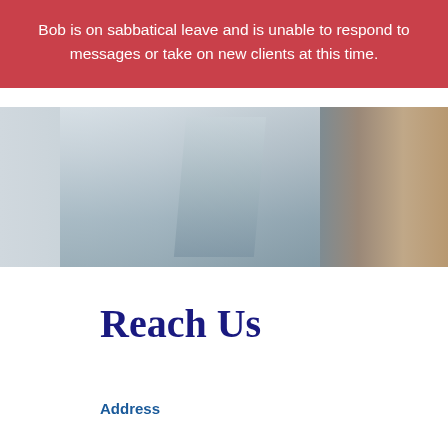Bob is on sabbatical leave and is unable to respond to messages or take on new clients at this time.
[Figure (photo): Partial photo strip showing blurred indoor scene with light and dark tones, appears to show a room or hallway with brownish wooden element on right side.]
Reach Us
Address